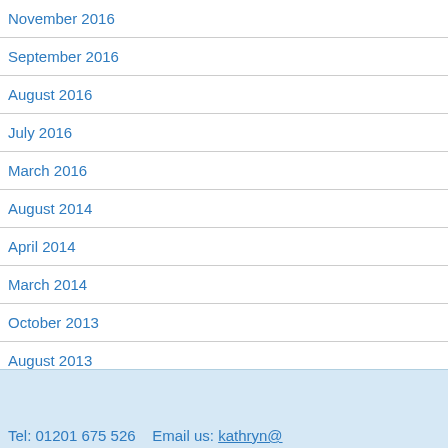November 2016
September 2016
August 2016
July 2016
March 2016
August 2014
April 2014
March 2014
October 2013
August 2013
Tel: 01201 675 526   Email us: kathryn@…